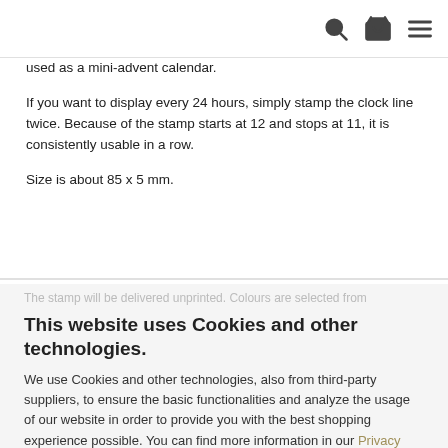Navigation icons: search, basket, menu
used as a mini-advent calendar.

If you want to display every 24 hours, simply stamp the clock line twice. Because of the stamp starts at 12 and stops at 11, it is consistently usable in a row.

Size is about 85 x 5 mm.
This website uses Cookies and other technologies.
We use Cookies and other technologies, also from third-party suppliers, to ensure the basic functionalities and analyze the usage of our website in order to provide you with the best shopping experience possible. You can find more information in our Privacy Notice.
Accept all
More information